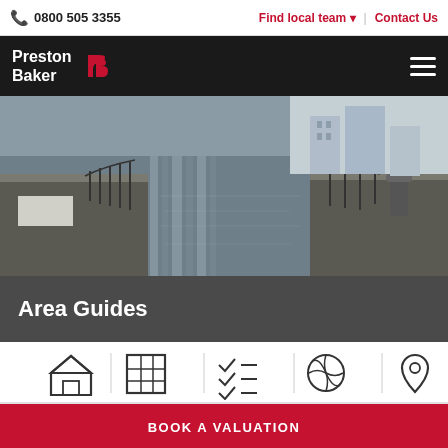0800 505 3355 | Find local team | Contact Us
[Figure (logo): Preston Baker logo with red P-B icon on black nav bar]
[Figure (photo): Canal lock gates with reflections of buildings on calm water]
Area Guides
[Figure (infographic): Row of 5 icons: house, grid/building, checklist, globe/leaf, location pin]
BOOK A VALUATION